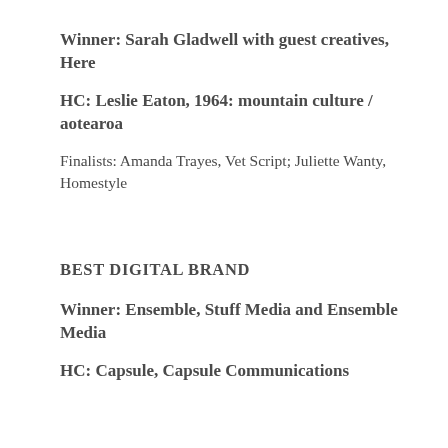Winner: Sarah Gladwell with guest creatives, Here
HC: Leslie Eaton, 1964: mountain culture / aotearoa
Finalists: Amanda Trayes, Vet Script; Juliette Wanty, Homestyle
BEST DIGITAL BRAND
Winner: Ensemble, Stuff Media and Ensemble Media
HC: Capsule, Capsule Communications